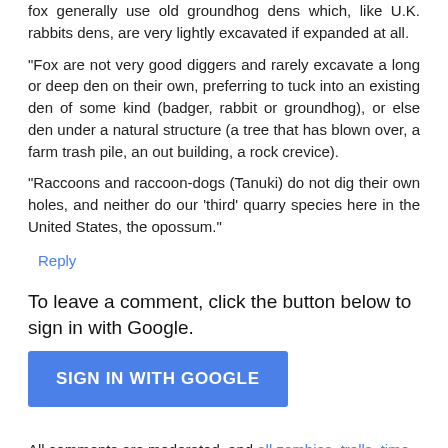fox generally use old groundhog dens which, like U.K. rabbits dens, are very lightly excavated if expanded at all.
"Fox are not very good diggers and rarely excavate a long or deep den on their own, preferring to tuck into an existing den of some kind (badger, rabbit or groundhog), or else den under a natural structure (a tree that has blown over, a farm trash pile, an out building, a rock crevice).
"Raccoons and raccoon-dogs (Tanuki) do not dig their own holes, and neither do our 'third' quarry species here in the United States, the opossum."
Reply
To leave a comment, click the button below to sign in with Google.
SIGN IN WITH GOOGLE
All comments are moderated, and all zombies, trolls, time wasters, and anonymous cowards will be deleted.